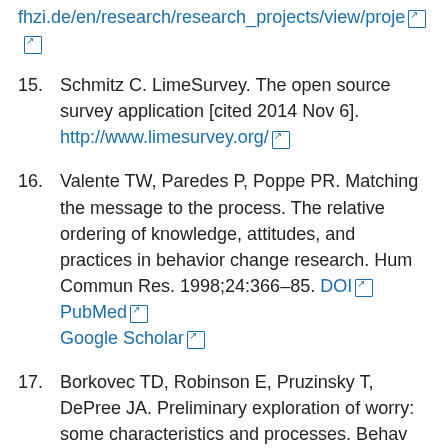fhzi.de/en/research/research_projects/view/proje… [external link icon]
15. Schmitz C. LimeSurvey. The open source survey application [cited 2014 Nov 6]. http://www.limesurvey.org/ [external link]
16. Valente TW, Paredes P, Poppe PR. Matching the message to the process. The relative ordering of knowledge, attitudes, and practices in behavior change research. Hum Commun Res. 1998;24:366–85. DOI [external link] PubMed [external link] Google Scholar [external link]
17. Borkovec TD, Robinson E, Pruzinsky T, DePree JA. Preliminary exploration of worry: some characteristics and processes. Behav Res Ther. 1983;21:9–16. DOI [external link] PubMed [external link] Google Scholar [external link]
18. Van Damme W, Van Lerberghe W. Epidemics